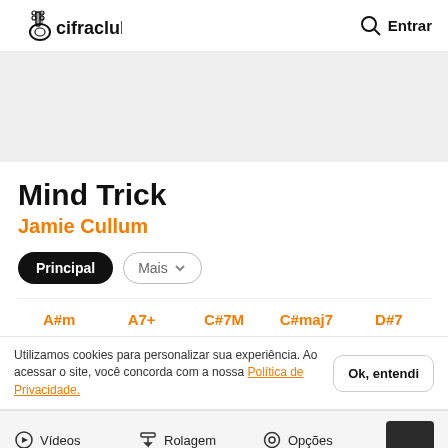cifraclub — Entrar
[Figure (other): Gray advertisement banner area]
Mind Trick
Jamie Cullum
Principal
Mais
A#m  A7+  C#7M  C#maj7  D#7
Utilizamos cookies para personalizar sua experiência. Ao acessar o site, você concorda com a nossa Política de Privacidade.
Ok, entendi
Vídeos  Rolagem  Opções
Play Mind Trick